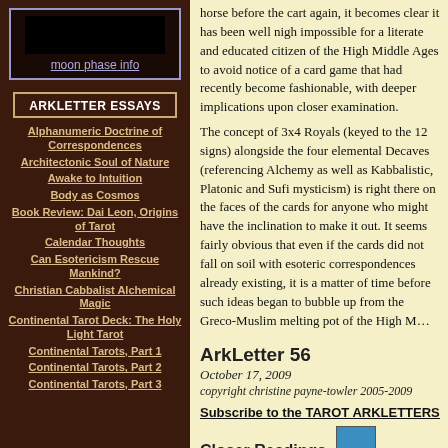[Figure (other): Black moon phase image placeholder]
moon phase info
ARKLETTER ESSAYS
Alphanumeric Doctrine of Correspondences
Architectonic Soul of Nature
Awake to Intuition
Body as Cosmos
Book Review: Dai Leon, Origins of Tarot
Calendar Thoughts
Can Esotericism Rescue Mankind?
Christian Cabbalist Alchemical Magic
Continental Tarot Deck: The Holy Light Tarot
Continental Tarots, Part 1
Continental Tarots, Part 2
Continental Tarots, Part 3
horse before the cart again, it becomes clear it has been well nigh impossible for a literate and educated citizen of the High Middle Ages to avoid notice of a card game that had recently become fashionable, with deeper implications upon closer examination.
The concept of 3x4 Royals (keyed to the 12 signs) alongside the four elemental Decaves (referencing Alchemy as well as Kabbalistic, Platonic and Sufi mysticism) is right there on the faces of the cards for anyone who might have the inclination to muse on it. It seems fairly obvious that even if the cards did not fall on soil with esoteric correspondences already existing, it is a matter of time before such ideas began to bubble up from the Greco-Muslim melting pot of the High M...
ArkLetter 56
October 17, 2009
copyright christine payne-towler 2005-2009
Subscribe to the TAROT ARKLETTERS
Closer Readings